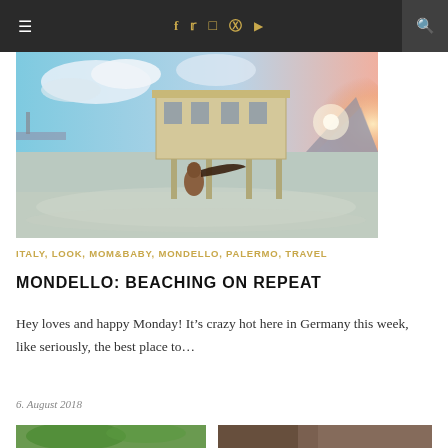≡  f  𝕏  📷  𝗣  ▶  🔍
[Figure (photo): Woman posing in shallow water near a historic pier/building at Mondello beach, Sicily. Blue sky and turquoise water visible.]
ITALY, LOOK, MOM&BABY, MONDELLO, PALERMO, TRAVEL
MONDELLO: BEACHING ON REPEAT
Hey loves and happy Monday! It's crazy hot here in Germany this week, like seriously, the best place to...
6. August 2018
[Figure (photo): Thumbnail image - greenery/outdoor scene (partial)]
[Figure (photo): Thumbnail image - outdoor/travel scene (partial)]